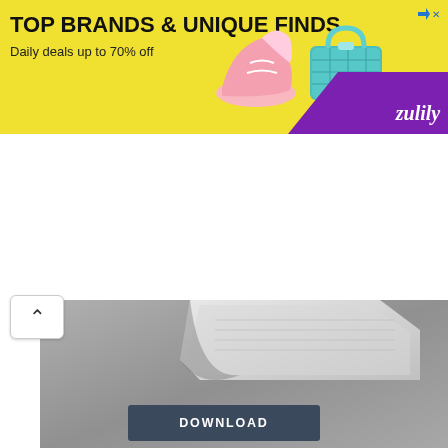[Figure (infographic): Advertisement banner for Zulily with yellow background. Text reads 'TOP BRANDS & UNIQUE FINDS' and 'Daily deals up to 70% off'. Features images of shoes and a teal handbag, purple corner with 'zulily' script logo, and a small close/skip button in top right.]
[Figure (photo): Grayscale photograph showing paper/document pages with a page-turn curl effect, on a gray background.]
DOWNLOAD